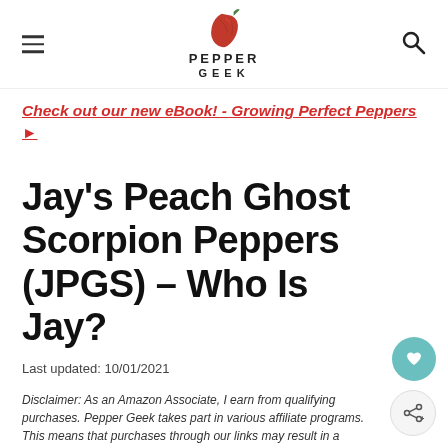PEPPER GEEK
Check out our new eBook! - Growing Perfect Peppers ▶
Jay's Peach Ghost Scorpion Peppers (JPGS) – Who Is Jay?
Last updated: 10/01/2021
Disclaimer: As an Amazon Associate, I earn from qualifying purchases. Pepper Geek takes part in various affiliate programs. This means that purchases through our links may result in a commission for us.